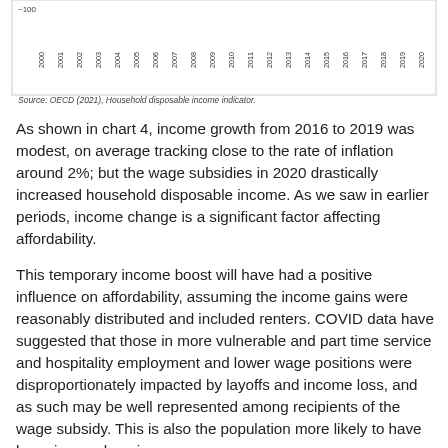[Figure (continuous-plot): Partial view of a line chart showing household disposable income over years 2000-2020 (x-axis labels visible). Only the bottom portion of the chart is visible, including the x-axis year labels and a source note. Source: OECD (2021), Household disposable income indicator.]
Source: OECD (2021), Household disposable income indicator.
As shown in chart 4, income growth from 2016 to 2019 was modest, on average tracking close to the rate of inflation around 2%; but the wage subsidies in 2020 drastically increased household disposable income. As we saw in earlier periods, income change is a significant factor affecting affordability.
This temporary income boost will have had a positive influence on affordability, assuming the income gains were reasonably distributed and included renters. COVID data have suggested that those in more vulnerable and part time service and hospitality employment and lower wage positions were disproportionately impacted by layoffs and income loss, and as such may be well represented among recipients of the wage subsidy. This is also the population more likely to have been in core housing